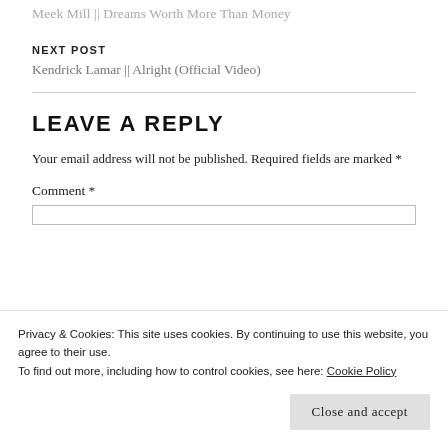Meek Mill || Dreams Worth More Than Money
NEXT POST
Kendrick Lamar || Alright (Official Video)
LEAVE A REPLY
Your email address will not be published. Required fields are marked *
Comment *
Privacy & Cookies: This site uses cookies. By continuing to use this website, you agree to their use.
To find out more, including how to control cookies, see here: Cookie Policy
Close and accept